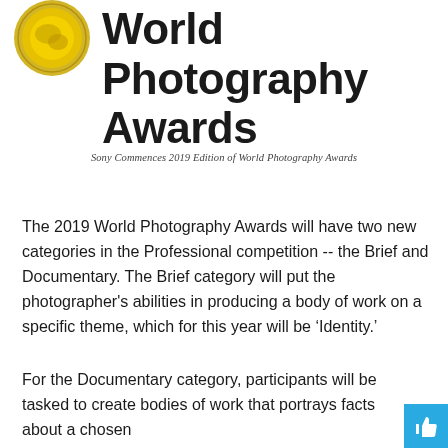[Figure (logo): World Photography Awards logo with gold circular emblem on the left and bold black text 'World Photography Awards' on the right]
Sony Commences 2019 Edition of World Photography Awards
The 2019 World Photography Awards will have two new categories in the Professional competition -- the Brief and Documentary. The Brief category will put the photographer's abilities in producing a body of work on a specific theme, which for this year will be ‘Identity.’
For the Documentary category, participants will be tasked to create bodies of work that portrays facts about a chosen